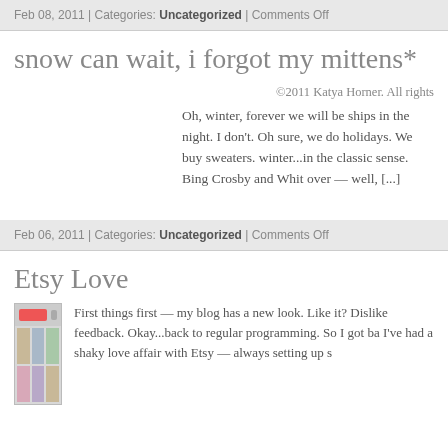Feb 08, 2011 | Categories: Uncategorized | Comments Off
snow can wait, i forgot my mittens*
©2011 Katya Horner. All rights
Oh, winter, forever we will be ships in the night. I don't. Oh sure, we do holidays. We buy sweaters. winter...in the classic sense. Bing Crosby and Whit over — well, [...]
Feb 06, 2011 | Categories: Uncategorized | Comments Off
Etsy Love
[Figure (screenshot): Screenshot of Etsy website showing product images in a grid layout]
First things first — my blog has a new look.  Like it?  Dislike feedback. Okay...back to regular programming. So I got ba I've had a shaky love affair with Etsy — always setting up s